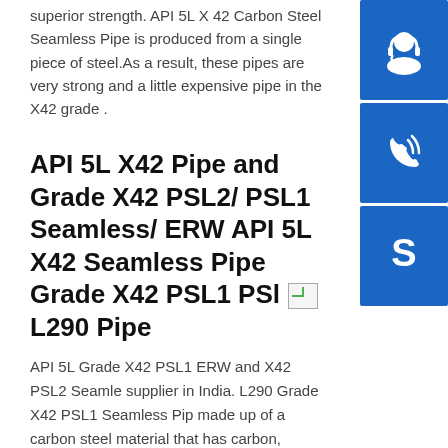superior strength. API 5L X 42 Carbon Steel Seamless Pipe is produced from a single piece of steel.As a result, these pipes are very strong and a little expensive pipe in the X42 grade .
API 5L X42 Pipe and Grade X42 PSL2/ PSL1 Seamless/ ERW API 5L X42 Seamless Pipe Grade X42 PSL1 PSL L290 Pipe
API 5L Grade X42 PSL1 ERW and X42 PSL2 Seamless supplier in India. L290 Grade X42 PSL1 Seamless Pipe made up of a carbon steel material that has carbon, manganese, phosphorus, sulfur in the composition. There are two product specification levels, psl1 and psl2. The PSL2 has higher phosphorus and sulfur content. API 5L X42 Pipe and L290 Grade X42 PSL1/ PSl2 Seamless API 5L X42 Seamless Pipe Grade X42 PSL1 PSl2 ERW L290 PipeGrade X42 ERW material and API 5L X42 PSL1/ PSL2 Seamless Pipe supplier in India. API 5L X42 Pipe is a grade of pipes in the
[Figure (illustration): Blue square button with white headset/customer support icon]
[Figure (illustration): Blue square button with white telephone icon]
[Figure (illustration): Blue square button with white Skype icon]